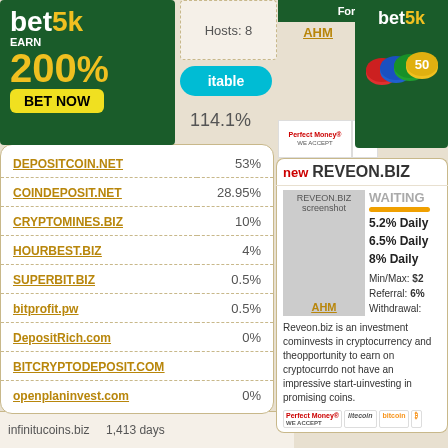[Figure (advertisement): bet5k ad - green background, EARN 200%, BET NOW button, yellow text]
Hosts: 8
itable
114.1%
DEPOSITCOIN.NET  53%
COINDEPOSIT.NET  28.95%
CRYPTOMINES.BIZ  10%
HOURBEST.BIZ  4%
SUPERBIT.BIZ  0.5%
bitprofit.pw  0.5%
DepositRich.com  0%
BITCRYPTODEPOSIT.COM  0%
openplaninvest.com  0%
Top Monitored
infinitucoins.biz  1,413 days
[Figure (advertisement): bet5k ad right side - green background with coins graphic showing 50]
For 10 Ho
AHM
Perfect Money WE ACCEPT
new REVEON.BIZ
[Figure (screenshot): REVEON.BIZ screenshot placeholder]
WAITING
5.2% Daily
6.5% Daily
8% Daily
Min/Max: $2
Referral: 6%
Withdrawal:
Reveon.biz is an investment company that invests in cryptocurrency and the opportunity to earn on cryptocurrency do not have an impressive start-up investing in promising coins.
AHM
Perfect Money WE ACCEPT  litecoin  bitcoin